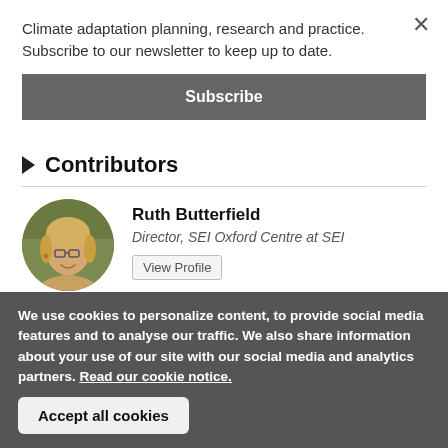Climate adaptation planning, research and practice. Subscribe to our newsletter to keep up to date.
Subscribe
▶ Contributors
Ruth Butterfield
Director, SEI Oxford Centre at SEI
View Profile
We use cookies to personalize content, to provide social media features and to analyse our traffic. We also share information about your use of our site with our social media and analytics partners. Read our cookie notice.
Accept all cookies